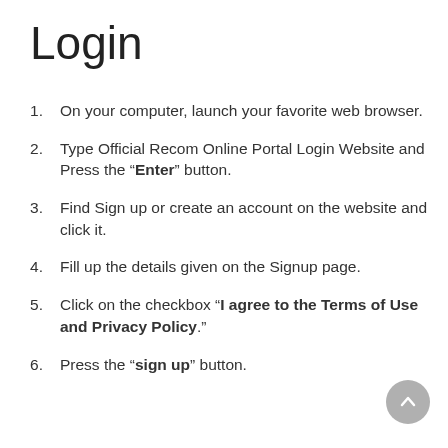Login
On your computer, launch your favorite web browser.
Type Official Recom Online Portal Login Website and Press the “Enter” button.
Find Sign up or create an account on the website and click it.
Fill up the details given on the Signup page.
Click on the checkbox “I agree to the Terms of Use and Privacy Policy.”
Press the “sign up” button.